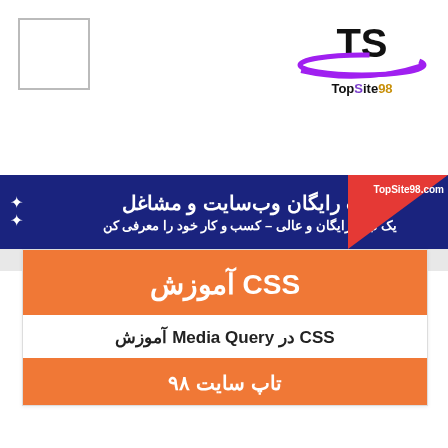[Figure (logo): TopSite98 logo with TS letters, arc design, and brand name in purple and yellow]
[Figure (illustration): Small empty white square box outline in top-left corner]
ثبت رایگان وب‌سایت و مشاغل
یک تبلیغ رایگان و عالی – کسب و کار خود را معرفی کن
آموزش CSS
آموزش Media Query در CSS
تاپ سایت ۹۸